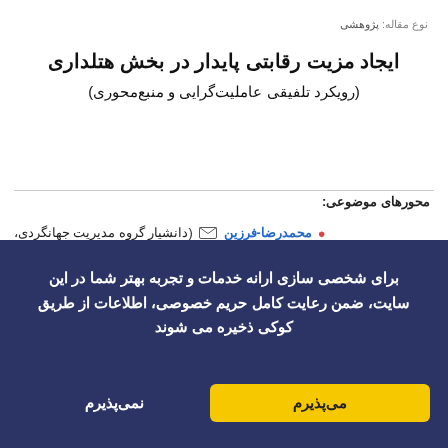نوع مقاله: پژوهشی
ایجاد مزیت رقابتی پایدار در بخش هتلداری (رویکرد تلفیقی عاملیت‌گرایی و منبع‌محوری)
محورهای موضوعی:
محمدرضا-فرزین (دانشیار گروه مدیریت جهانگردی، دانشکده مدیریت و حسابداری، )
مصطفی محمودی ۲ (دانشکده مدیریت و حسابداری علامه طباطبایی)
برای شخصی سازی ارانه خدمات و تجربه بهتر شما در این سایت، ضمن رعایت کامل حریم خصوصی، اطلاعات از طریق کوکی ذخیره می شوند
می‌پذیرم
نمی‌پذیرم